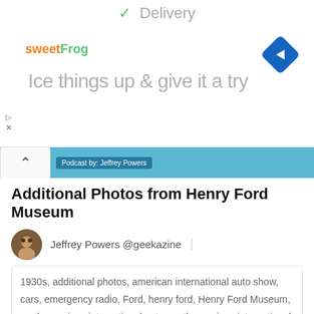[Figure (screenshot): Ad banner with sweetFrog logo, checkmark Delivery text, navigation diamond icon, and tagline 'Ice things up & give it a try']
[Figure (screenshot): Podcast bar with up chevron button and 'Podcast by: Jeffrey Powers' blue label]
Additional Photos from Henry Ford Museum
Jeffrey Powers @geekazine
1930s, additional photos, american international auto show, cars, emergency radio, Ford, henry ford, Henry Ford Museum, north american international auto, north american international auto show, panorama, portable tv, propeller, tv caption
January 27, 2013
I got to walk around the Henry Ford Museum the other week before heading to the North American International